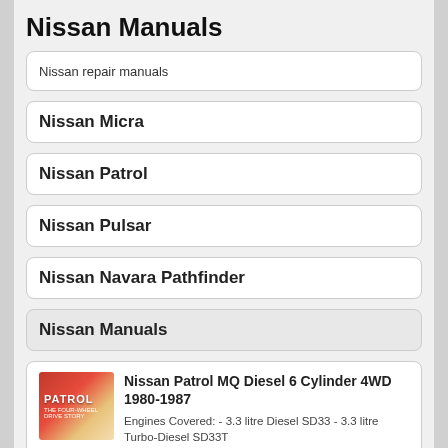Nissan Manuals
Nissan repair manuals
Nissan Micra
Nissan Patrol
Nissan Pulsar
Nissan Navara Pathfinder
Nissan Manuals
Nissan Patrol MQ Diesel 6 Cylinder 4WD 1980-1987
Engines Covered: - 3.3 litre Diesel SD33 - 3.3 litre Turbo-Diesel SD33T